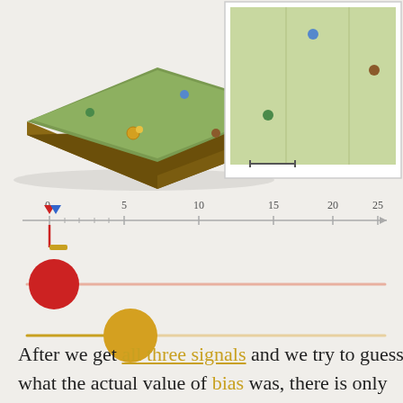[Figure (illustration): 3D isometric green field/board with colored dots (blue, green, gold/yellow pair, brown) representing signals or data points]
[Figure (schematic): Top-down 2D view of the green field with blue, brown, and green dots, and a scale bar, shown in a box in the top-right]
[Figure (other): Number line from 0 to 25 with tick marks, a red downward triangle and blue upward marker near 0, a red vertical line, and a gold/brown horizontal bar at bottom]
[Figure (other): Two slider controls: a red circle slider near the left (value ~0) and a gold/yellow circle slider at approximately 5]
After we get all three signals and we try to guess what the actual value of bias was, there is only